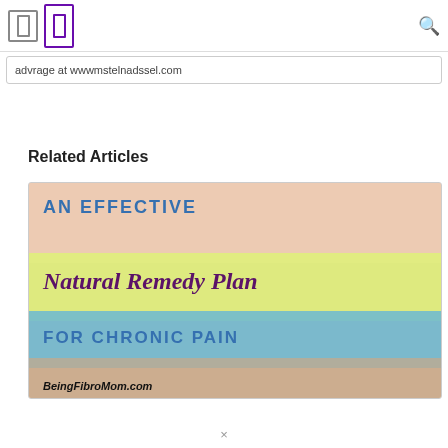Navigation icons and search icon
advrage at wwwmstelnadssel.com
Related Articles
[Figure (illustration): Article card image with text: AN EFFECTIVE Natural Remedy Plan FOR CHRONIC PAIN, with BeingFibroMom.com watermark at the bottom. Background shows a person holding a cup with cozy setting.]